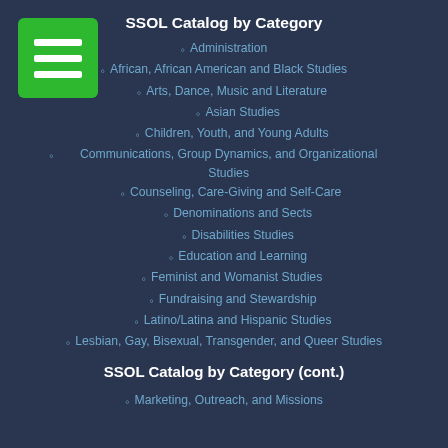SSOL Catalog by Category
Administration
African, African American and Black Studies
Arts, Dance, Music and Literature
Asian Studies
Children, Youth, and Young Adults
Communications, Group Dynamics, and Organizational Studies
Counseling, Care-Giving and Self-Care
Denominations and Sects
Disabilities Studies
Education and Learning
Feminist and Womanist Studies
Fundraising and Stewardship
Latino/Latina and Hispanic Studies
Lesbian, Gay, Bisexual, Transgender, and Queer Studies
SSOL Catalog by Category (cont.)
Marketing, Outreach, and Missions